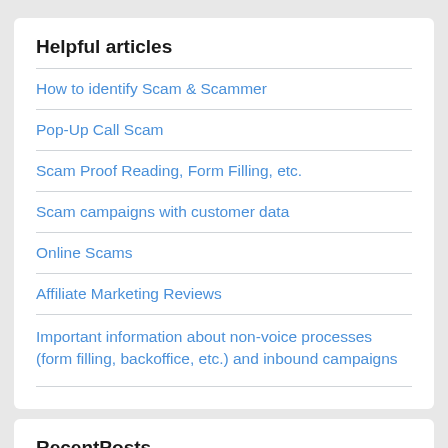Helpful articles
How to identify Scam & Scammer
Pop-Up Call Scam
Scam Proof Reading, Form Filling, etc.
Scam campaigns with customer data
Online Scams
Affiliate Marketing Reviews
Important information about non-voice processes (form filling, backoffice, etc.) and inbound campaigns
RecentPosts